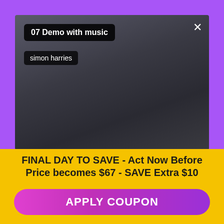[Figure (screenshot): Video thumbnail with dark/grey blurred background. Shows title badge '07 Demo with music' and author badge 'simon harries', with a close X button in the top right corner.]
FINAL DAY TO SAVE - Act Now Before Price becomes $67 - SAVE Extra $10
: : :
APPLY COUPON